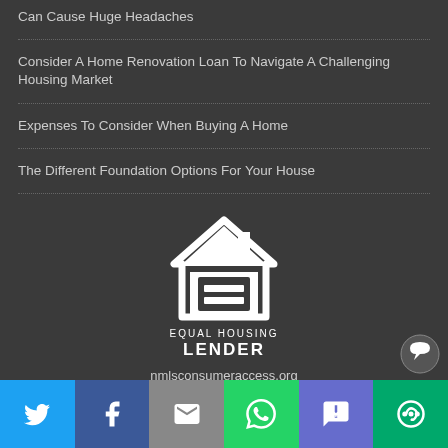Can Cause Huge Headaches
Consider A Home Renovation Loan To Navigate A Challenging Housing Market
Expenses To Consider When Buying A Home
The Different Foundation Options For Your House
[Figure (logo): Equal Housing Lender logo — white house outline with equal sign, text EQUAL HOUSING LENDER]
nmlsconsumeraccess.org
First Heritage Mortgage, LLC, Company NMLS ID #86548
Social share bar: Twitter, Facebook, Email, WhatsApp, SMS, More